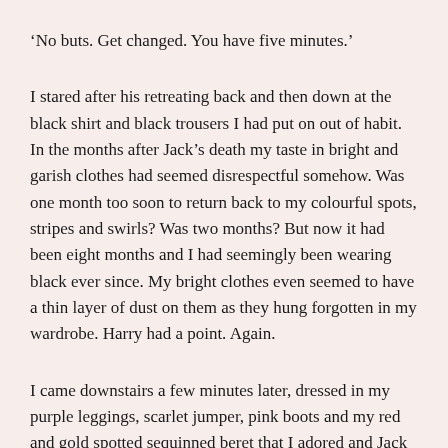‘No buts. Get changed. You have five minutes.’
I stared after his retreating back and then down at the black shirt and black trousers I had put on out of habit. In the months after Jack’s death my taste in bright and garish clothes had seemed disrespectful somehow. Was one month too soon to return back to my colourful spots, stripes and swirls? Was two months? But now it had been eight months and I had seemingly been wearing black ever since. My bright clothes even seemed to have a thin layer of dust on them as they hung forgotten in my wardrobe. Harry had a point. Again.
I came downstairs a few minutes later, dressed in my purple leggings, scarlet jumper, pink boots and my red and gold spotted sequinned beret that I adored and Jack hated because he said I looked like a toadstool. I felt lighter already.
Harry grinned when he saw me. ‘You look beautiful.’ He offered me his arm. ‘Now let’s go.’